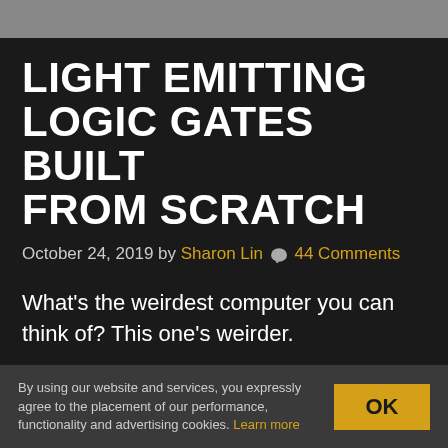[Figure (photo): Top portion of a photo, partially cropped, showing a person's face/upper body]
LIGHT EMITTING LOGIC GATES BUILT FROM SCRATCH
October 24, 2019 by Sharon Lin 💬 44 Comments
What's the weirdest computer you can think of? This one's weirder.
[Dr. Cockroach] figured out a way to create an inverting NOT gate from just one LED and two resistors (one being a photo-resistor). The Dr.
By using our website and services, you expressly agree to the placement of our performance, functionality and advertising cookies. Learn more